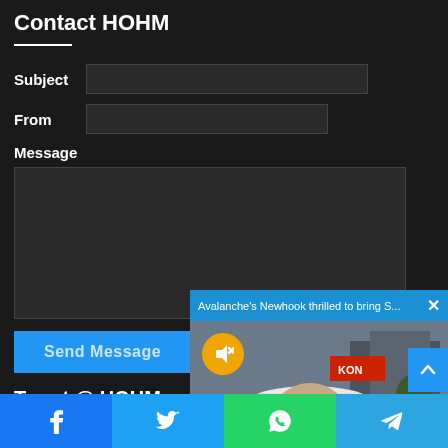Contact HOHM
Subject [input field]
From [input field]
Message [textarea]
Send Message
Tweet @ HOHM on
[Figure (screenshot): Video popup overlay: 'Avalanche's Newhook thrilled to bring S...' with a photo of a young man in a white cap, with a mute button overlay.]
Facebook | Twitter | WhatsApp | Telegram social share bar